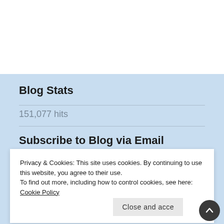Blog Stats
151,077 hits
Subscribe to Blog via Email
Privacy & Cookies: This site uses cookies. By continuing to use this website, you agree to their use.
To find out more, including how to control cookies, see here: Cookie Policy
Close and acce...